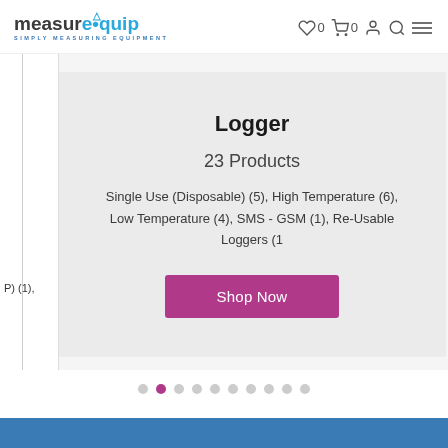[Figure (logo): MeasureQuip logo with tagline 'Simply Measuring Equipment']
MeasureQuip navigation header with wishlist (0), cart (0), account, search, and menu icons
) (1),
Logger
23 Products
Single Use (Disposable) (5), High Temperature (6), Low Temperature (4), SMS - GSM (1), Re-Usable Loggers (1
Shop Now
[Figure (infographic): Carousel dot indicators — 10 dots, second dot active (pink/magenta)]